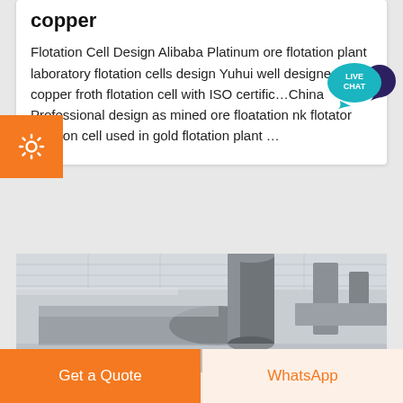copper
Flotation Cell Design Alibaba Platinum ore flotation plant laboratory flotation cells design Yuhui well designed copper froth flotation cell with ISO certific… China Professional design as mined ore floatation nk flotator flotation cell used in gold flotation plant …
[Figure (photo): Industrial piping and ductwork inside a flotation plant facility, showing large grey cylindrical pipes and overhead metal structures in a grey-toned industrial interior.]
Get a Quote
WhatsApp